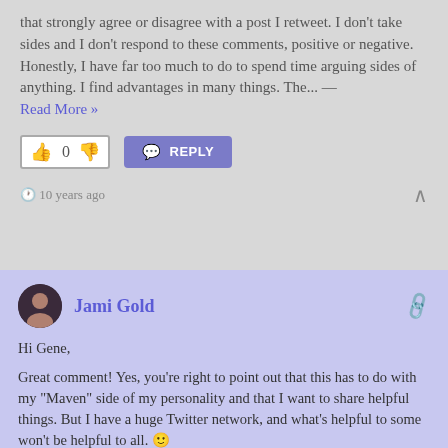that strongly agree or disagree with a post I retweet. I don't take sides and I don't respond to these comments, positive or negative. Honestly, I have far too much to do to spend time arguing sides of anything. I find advantages in many things. The... — Read More »
0
REPLY
10 years ago
Jami Gold
Hi Gene,
Great comment! Yes, you're right to point out that this has to do with my "Maven" side of my personality and that I want to share helpful things. But I have a huge Twitter network, and what's helpful to some won't be helpful to all. 🙂
And you're absolutely right about how people will